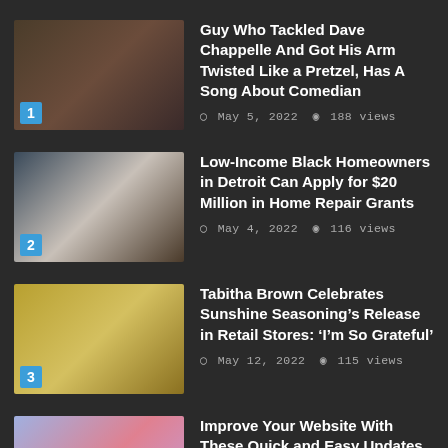1. Guy Who Tackled Dave Chappelle And Got His Arm Twisted Like a Pretzel, Has A Song About Comedian | May 5, 2022 | 188 views
2. Low-Income Black Homeowners in Detroit Can Apply for $20 Million in Home Repair Grants | May 4, 2022 | 116 views
3. Tabitha Brown Celebrates Sunshine Seasoning's Release in Retail Stores: ‘I’m So Grateful’ | May 12, 2022 | 115 views
4. Improve Your Website With These Quick and Easy Updates | May 13, 2022 | 107 views
MOST COMMENTED
Netflix’s Tudum Recruits Women of Color Only To